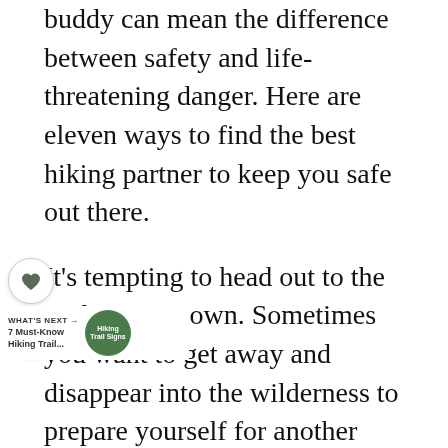buddy can mean the difference between safety and life-threatening danger. Here are eleven ways to find the best hiking partner to keep you safe out there.
It's tempting to head out to the trail on your own. Sometimes you want to get away and disappear into the wilderness to prepare yourself for another week of your busy life.
However, it's not always the safest thing to do. People hiking together face much lesser chances of getting lost and being injured while outdoors. Here are a few tips to get the best hiking friends to build lasting memories and keep you safe as you enjoy nature together.